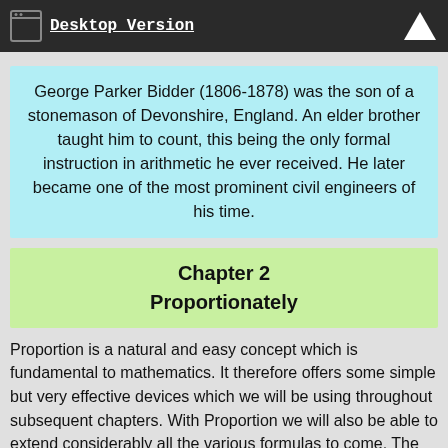Desktop Version
George Parker Bidder (1806-1878) was the son of a stonemason of Devonshire, England. An elder brother taught him to count, this being the only formal instruction in arithmetic he ever received. He later became one of the most prominent civil engineers of his time.
Chapter 2
Proportionately
Proportion is a natural and easy concept which is fundamental to mathematics. It therefore offers some simple but very effective devices which we will be using throughout subsequent chapters. With Proportion we will also be able to extend considerably all the various formulas to come. The advantage of splitting numbers into convenient sections is also illustrated in this chapter.